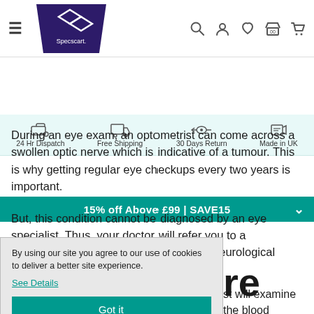[Figure (screenshot): Specscart website navigation header with hamburger menu, logo, search, account, wishlist, store and cart icons]
[Figure (infographic): Service bar showing 24 Hr Dispatch, Free Shipping, 30 Days Return, Made in UK icons]
[Figure (screenshot): Teal promotional banner: 15% off Above £99 | SAVE15 with dropdown chevron]
During an eye exam, an optometrist can come across a swollen optic nerve which is indicative of a tumour. This is why getting regular eye checkups every two years is important.
But, this condition cannot be diagnosed by an eye specialist. Thus, your doctor will refer you to a neurologist for thorough testing of your neurological system and diagnosing this problem.
By using our site you agree to our use of cookies to deliver a better site experience.
See Details
Got it
st will examine the blood may even spot the